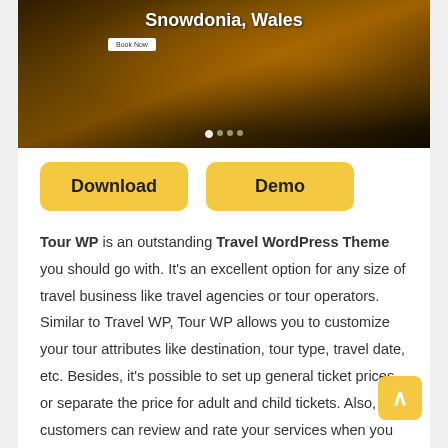[Figure (screenshot): Screenshot of a travel website showing 'Snowdonia, Wales' text overlay on a dark mountain landscape image with a 'Book Now' button and navigation dots at the bottom.]
Download
Demo
Tour WP is an outstanding Travel WordPress Theme you should go with. It's an excellent option for any size of travel business like travel agencies or tour operators. Similar to Travel WP, Tour WP allows you to customize your tour attributes like destination, tour type, travel date, etc. Besides, it's possible to set up general ticket prices or separate the price for adult and child tickets. Also, customers can review and rate your services when you enable the rating system.
You'll get an ultra-fast and responsive travel theme since it's